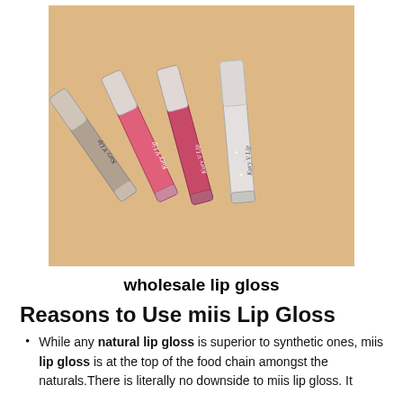[Figure (photo): Four Kury V Lip gloss tubes in various shades (nude/taupe, pink, coral/berry, clear/white glitter) arranged overlapping on a peach/tan background.]
wholesale lip gloss
Reasons to Use miis Lip Gloss
While any natural lip gloss is superior to synthetic ones, miis lip gloss is at the top of the food chain amongst the naturals.There is literally no downside to miis lip gloss. It